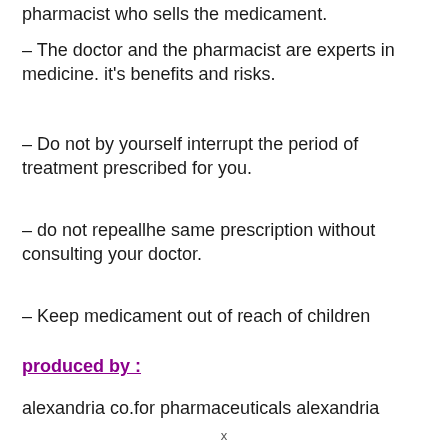pharmacist who sells the medicament.
– The doctor and the pharmacist are experts in medicine. it's benefits and risks.
– Do not by yourself interrupt the period of treatment prescribed for you.
– do not repeallhe same prescription without consulting your doctor.
– Keep medicament out of reach of children
produced by :
alexandria co.for pharmaceuticals alexandria
x